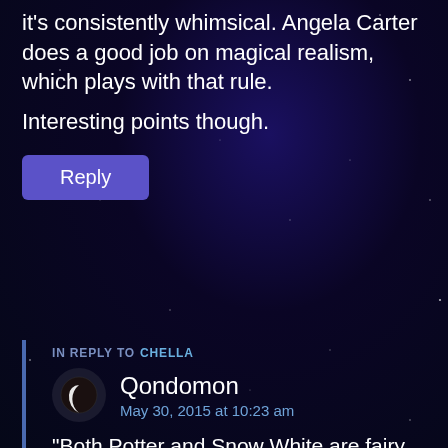it's consistently whimsical. Angela Carter does a good job on magical realism, which plays with that rule.
Interesting points though.
Reply
IN REPLY TO CHELLA
Qondomon
May 30, 2015 at 10:23 am
"Both Potter and Snow White are fairy tales, rather than an exercise in psychological realism." Yes is true, but they turn out being to a major